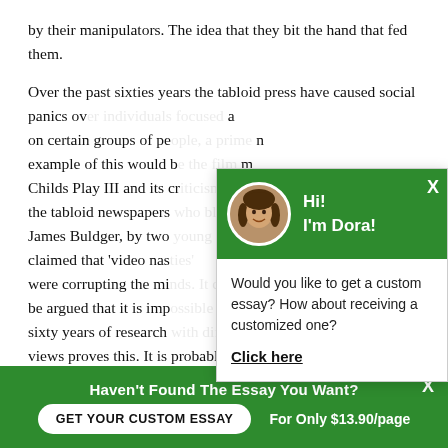by their manipulators. The idea that they bit the hand that fed them.
Over the past sixties years the tabloid press have caused social panics over [obscured by popup] a on certain groups of pe[ople] [obscured] n example of this would b[e] [obscured] m Childs Play III and its cr[iticism by] the tabloid newspapers [obscured] d, James Buldger, by two [obscured] claimed that 'video nas[ties'] were corrupting the mi[nds. It can] be argued that it is imp[ossible to blam] e, sixty years of research [on media] views proves this. It is probably more advanta[geous] to persevere with Katz idea that audience perc[eption]
[Figure (screenshot): Green chat popup with avatar photo of woman (Dora), greeting 'Hi! I'm Dora!', text 'Would you like to get a custom essay? How about receiving a customized one?' and 'Click here' link]
[Figure (screenshot): Green circular chat icon button at bottom right]
Haven't Found The Essay You Want?
GET YOUR CUSTOM ESSAY
For Only $13.90/page